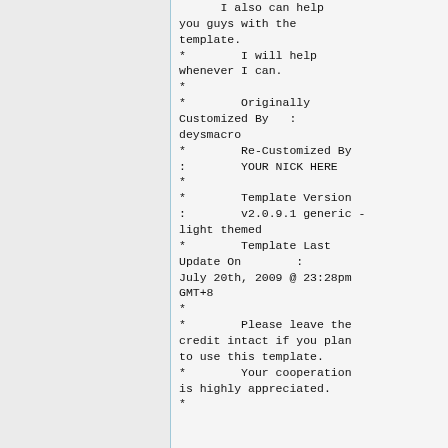I also can help you guys with the template.
*        I will help whenever I can.
*
*        Originally Customized By   : deysmacro
*        Re-Customized By
:        YOUR NICK HERE
*
*        Template Version
:        v2.0.9.1 generic - light themed
*        Template Last Update On        :
July 20th, 2009 @ 23:28pm GMT+8
*
*        Please leave the credit intact if you plan to use this template.
*        Your cooperation is highly appreciated.